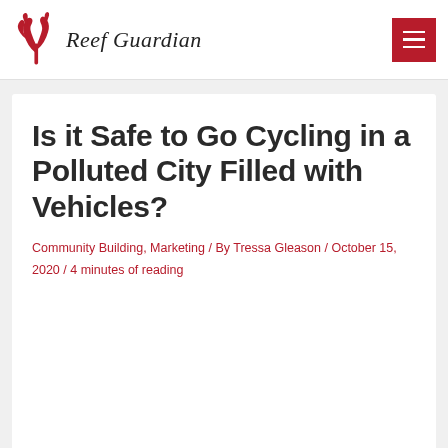Reef Guardian
Is it Safe to Go Cycling in a Polluted City Filled with Vehicles?
Community Building, Marketing / By Tressa Gleason / October 15, 2020 / 4 minutes of reading